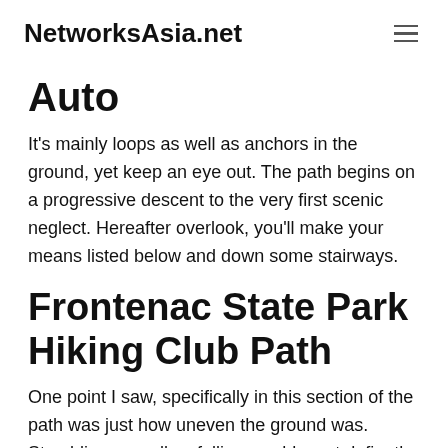NetworksAsia.net
Auto
It's mainly loops as well as anchors in the ground, yet keep an eye out. The path begins on a progressive descent to the very first scenic neglect. Hereafter overlook, you'll make your means listed below and down some stairways.
Frontenac State Park Hiking Club Path
One point I saw, specifically in this section of the path was just how uneven the ground was. Stumbling as well as falling would most defiantly included hitting a couple of jagged looking rocks.